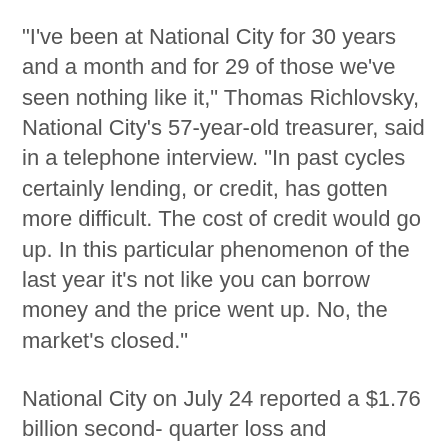"I've been at National City for 30 years and a month and for 29 of those we've seen nothing like it," Thomas Richlovsky, National City's 57-year-old treasurer, said in a telephone interview. "In past cycles certainly lending, or credit, has gotten more difficult. The cost of credit would go up. In this particular phenomenon of the last year it's not like you can borrow money and the price went up. No, the market's closed."
National City on July 24 reported a $1.76 billion second- quarter loss and increased its 2008 forecast for uncollectible debt to as much as $2.9 billion. The Cleveland-based bank raised $7 billion of capital in April, which Richlovsky said is more than enough to weather the seizure in the credit markets.
The stock sale wasn't enough to stop National City's bonds from tumbling. Its $700 million of 6.875 percent notes due in 2019 traded last week